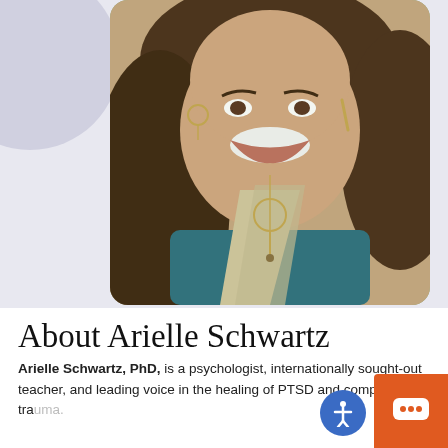[Figure (photo): Portrait photo of Arielle Schwartz, a woman with long wavy brown hair, wearing a teal top with a cream/beige scarf and a circular pendant necklace, smiling broadly. The photo has rounded corners and is set against a light lavender/grey background with a partial grey circle visible at top left.]
About Arielle Schwartz
Arielle Schwartz, PhD, is a psychologist, internationally sought-out teacher, and leading voice in the healing of PTSD and complex trauma. She has been offered formal education...